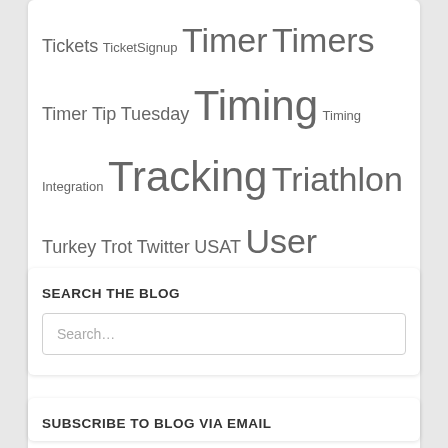Tickets TicketSignup Timer Timers Timer Tip Tuesday Timing Timing Integration Tracking Triathlon Turkey Trot Twitter USAT User Experience UX Video Virtual Challenge Virtual Events Virtual Races Virtual Results Volunteer Volunteer System Wait List Waiver Webinar Website Widget Winter Symposium
SEARCH THE BLOG
Search…
SUBSCRIBE TO BLOG VIA EMAIL